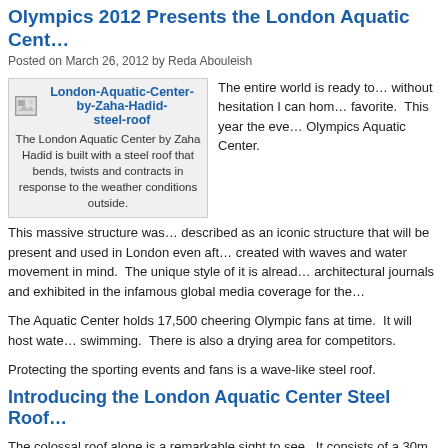Olympics 2012 Presents the London Aquatic Cent…
Posted on March 26, 2012 by Reda Abouleish
[Figure (photo): Thumbnail image placeholder for London-Aquatic-Center-by-Zaha-Hadid-steel-roof with caption: The London Aquatic Center by Zaha Hadid is built with a steel roof that bends, twists and contracts in response to the weather conditions outside.]
The entire world is ready to… without hesitation I can ho… favorite. This year the eve… Olympics Aquatic Center.
This massive structure was… described as an iconic structure that will be present and used in London even aft… created with waves and water movement in mind. The unique style of it is alread… architectural journals and exhibited in the infamous global media coverage for the…
The Aquatic Center holds 17,500 cheering Olympic fans at time. It will host wate… swimming. There is also a drying area for competitors.
Protecting the sporting events and fans is a wave-like steel roof.
Introducing the London Aquatic Center Steel Roof…
The colossal roof alone is a remarkable sight to see. It consists of a 30m steel tr… southern wall of the roof. This truss connects to 10 other steel trusses, which are… 120m across before reaching the two northern roof supports.
What separates this roof from past aquatic venues is its capability to expand, twis… weather.